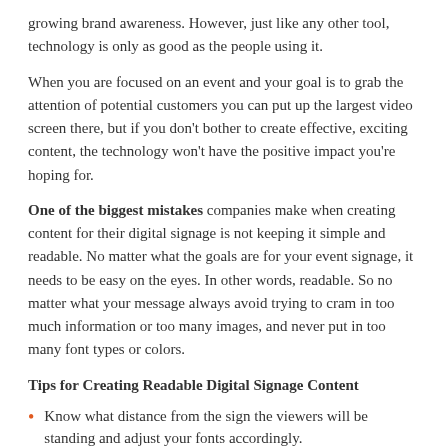growing brand awareness. However, just like any other tool, technology is only as good as the people using it.
When you are focused on an event and your goal is to grab the attention of potential customers you can put up the largest video screen there, but if you don’t bother to create effective, exciting content, the technology won’t have the positive impact you’re hoping for.
One of the biggest mistakes companies make when creating content for their digital signage is not keeping it simple and readable. No matter what the goals are for your event signage, it needs to be easy on the eyes. In other words, readable. So no matter what your message always avoid trying to cram in too much information or too many images, and never put in too many font types or colors.
Tips for Creating Readable Digital Signage Content
Know what distance from the sign the viewers will be standing and adjust your fonts accordingly.
The copy and images should make it clear exactly how your